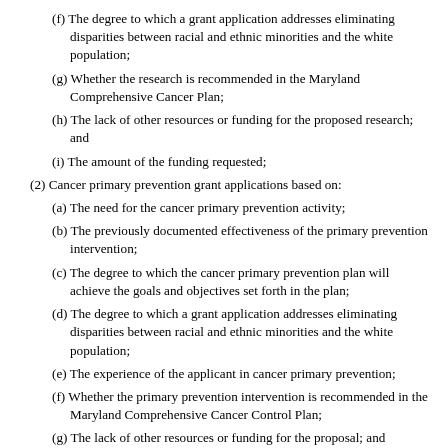(f) The degree to which a grant application addresses eliminating disparities between racial and ethnic minorities and the white population;
(g) Whether the research is recommended in the Maryland Comprehensive Cancer Plan;
(h) The lack of other resources or funding for the proposed research; and
(i) The amount of the funding requested;
(2) Cancer primary prevention grant applications based on:
(a) The need for the cancer primary prevention activity;
(b) The previously documented effectiveness of the primary prevention intervention;
(c) The degree to which the cancer primary prevention plan will achieve the goals and objectives set forth in the plan;
(d) The degree to which a grant application addresses eliminating disparities between racial and ethnic minorities and the white population;
(e) The experience of the applicant in cancer primary prevention;
(f) Whether the primary prevention intervention is recommended in the Maryland Comprehensive Cancer Control Plan;
(g) The lack of other resources or funding for the proposal; and